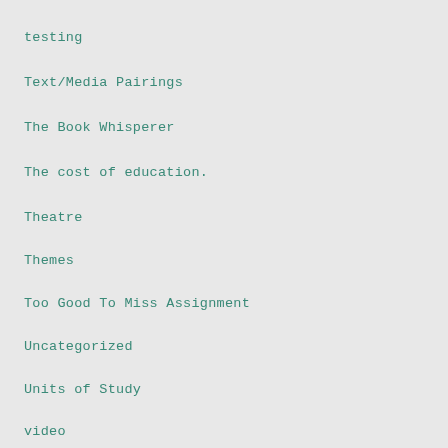testing
Text/Media Pairings
The Book Whisperer
The cost of education.
Theatre
Themes
Too Good To Miss Assignment
Uncategorized
Units of Study
video
Wish I Had Written That